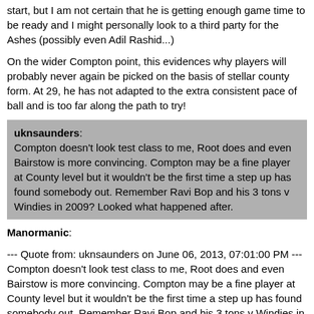start, but I am not certain that he is getting enough game time to be ready and I might personally look to a third party for the Ashes (possibly even Adil Rashid...)
On the wider Compton point, this evidences why players will probably never again be picked on the basis of stellar county form. At 29, he has not adapted to the extra consistent pace of ball and is too far along the path to try!
uknsaunders: Compton doesn't look test class to me, Root does and even Bairstow is more convincing. Compton may be a fine player at County level but it wouldn't be the first time a step up has found somebody out. Remember Ravi Bop and his 3 tons v Windies in 2009? Looked what happened after.
Manormanic:
--- Quote from: uknsaunders on June 06, 2013, 07:01:00 PM --- Compton doesn't look test class to me, Root does and even Bairstow is more convincing. Compton may be a fine player at County level but it wouldn't be the first time a step up has found somebody out. Remember Ravi Bop and his 3 tons v Windies in 2009? Looked what happened after.
--- End quote ---